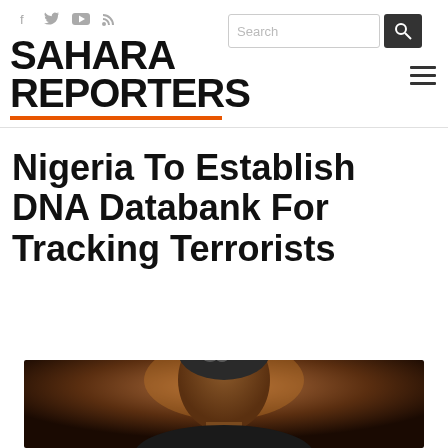SAHARA REPORTERS
Nigeria To Establish DNA Databank For Tracking Terrorists
[Figure (photo): Portrait photo of a person, cropped at the top of the page bottom, showing head and upper shoulders against a warm dark background]